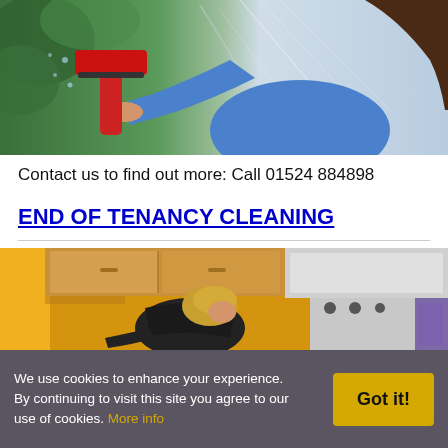[Figure (photo): Woman in blue top using a red squeegee to clean a window, green foliage visible in background]
Contact us to find out more: Call 01524 884898
END OF TENANCY CLEANING
[Figure (photo): Person cleaning under kitchen cabinets in a kitchen with wooden cabinets and yellow walls, white stove visible]
We use cookies to enhance your experience. By continuing to visit this site you agree to our use of cookies. More info